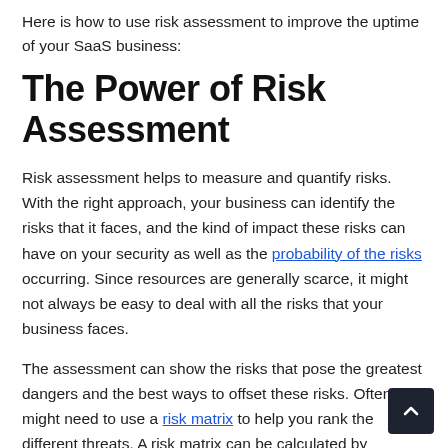Here is how to use risk assessment to improve the uptime of your SaaS business:
The Power of Risk Assessment
Risk assessment helps to measure and quantify risks. With the right approach, your business can identify the risks that it faces, and the kind of impact these risks can have on your security as well as the probability of the risks occurring. Since resources are generally scarce, it might not always be easy to deal with all the risks that your business faces.
The assessment can show the risks that pose the greatest dangers and the best ways to offset these risks. Often, you might need to use a risk matrix to help you rank the different threats. A risk matrix can be calculated by multiplying the risk likelihood by the impact it would have on